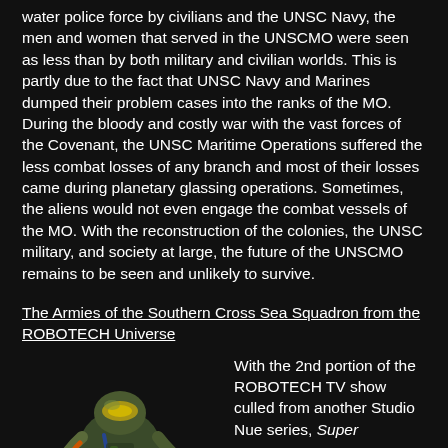water police force by civilians and the UNSC Navy, the men and women that served in the UNSCMO were seen as less than by both military and civilian worlds. This is partly due to the fact that UNSC Navy and Marines dumped their problem cases into the ranks of the MO. During the bloody and costly war with the vast forces of the Covenant, the UNSC Maritime Operations suffered the less combat losses of any branch and most of their losses came during planetary glassing operations. Sometimes, the aliens would not even engage the combat vessels of the MO. With the reconstruction of the colonies, the UNSC military, and society at large, the future of the UNSCMO remains to be seen and unlikely to survive.
The Armies of the Southern Cross Sea Squadron from the ROBOTECH Universe
[Figure (illustration): An armored alien or mecha figure in a crouching or action pose, rendered in dark tones with orange and blue highlights, against a black background.]
With the 2nd portion of the ROBOTECH TV show culled from another Studio Nue series, Super